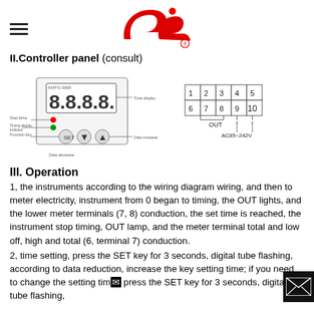[Figure (logo): Company logo - red stylized 'cl' letters with registered trademark symbol]
II.Controller panel (consult)
[Figure (schematic): Controller panel diagram showing KMTG-3000 unit with LCD display showing 8.8.8.8, Stop lamp, Timing display indicator, Function key, Data decrease, Time display, Data increase labels. Also shows terminal wiring diagram with numbered terminals 1-10, OUT and AC85~242V labels.]
III. Operation
1, the instruments according to the wiring diagram wiring, and then to meter electricity, instrument from 0 began to timing, the OUT lights, and the lower meter terminals (7, 8) conduction, the set time is reached, the instrument stop timing, OUT lamp, and the meter terminal total and low off, high and total (6, terminal 7) conduction.
2, time setting, press the SET key for 3 seconds, digital tube flashing, according to data reduction, increase the key setting time; if you need to change the setting time press the SET key for 3 seconds, digital tube flashing,